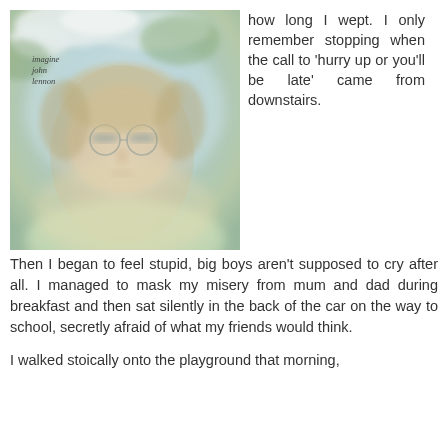[Figure (photo): Album cover of 'Imagine' by John Lennon — a soft, dreamy photograph of John Lennon's face with clouds and nature in the background, with text 'imagine john lennon' in the upper left corner]
how long I wept. I only remember stopping when the call to 'hurry up or you'll be late' came from downstairs. Then I began to feel stupid, big boys aren't supposed to cry after all. I managed to mask my misery from mum and dad during breakfast and then sat silently in the back of the car on the way to school, secretly afraid of what my friends would think.
I walked stoically onto the playground that morning,